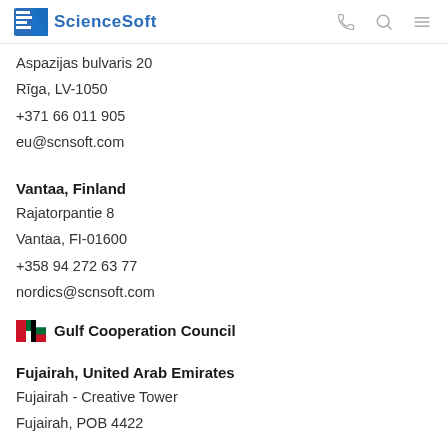ScienceSoft
Aspazijas bulvaris 20
Rīga, LV-1050
+371 66 011 905
eu@scnsoft.com
Vantaa, Finland
Rajatorpantie 8
Vantaa, FI-01600
+358 94 272 63 77
nordics@scnsoft.com
Gulf Cooperation Council
Fujairah, United Arab Emirates
Fujairah - Creative Tower
Fujairah, POB 4422